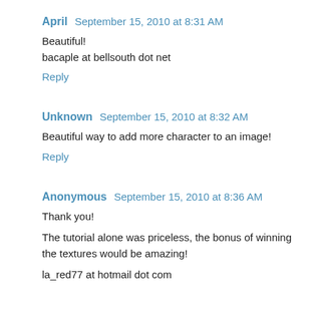April  September 15, 2010 at 8:31 AM
Beautiful!
bacaple at bellsouth dot net
Reply
Unknown  September 15, 2010 at 8:32 AM
Beautiful way to add more character to an image!
Reply
Anonymous  September 15, 2010 at 8:36 AM
Thank you!
The tutorial alone was priceless, the bonus of winning the textures would be amazing!
la_red77 at hotmail dot com
Reply